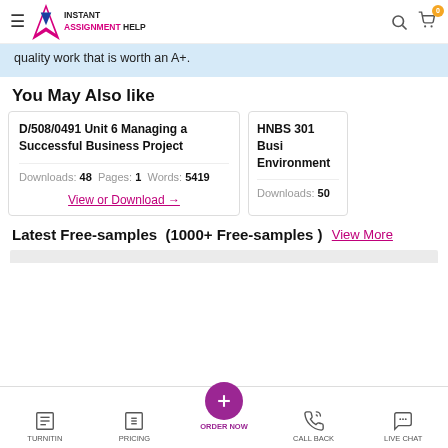Instant Assignment Help
quality work that is worth an A+.
You May Also like
| Title | Downloads | Pages | Words |
| --- | --- | --- | --- |
| D/508/0491 Unit 6 Managing a Successful Business Project | 48 | 1 | 5419 |
| HNBS 301 Busi Environment | 50 |  |  |
View or Download →
Latest Free-samples (1000+ Free-samples ) View More
TURNITIN  PRICING  ORDER NOW  CALL BACK  LIVE CHAT